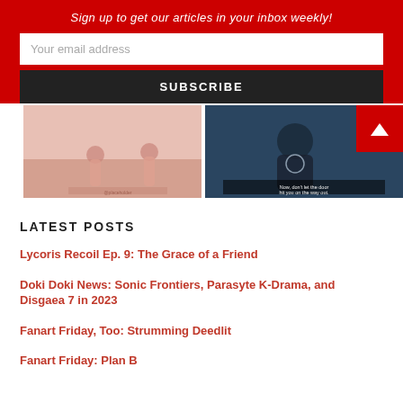Sign up to get our articles in your inbox weekly!
Your email address
SUBSCRIBE
[Figure (photo): Two anime screenshots side by side: left shows a pinkish-toned scene with two characters, right shows a dark-toned scene with an anime character and subtitle text 'Now, don't let the door hit you on the way out.']
LATEST POSTS
Lycoris Recoil Ep. 9: The Grace of a Friend
Doki Doki News: Sonic Frontiers, Parasyte K-Drama, and Disgaea 7 in 2023
Fanart Friday, Too: Strumming Deedlit
Fanart Friday: Plan B